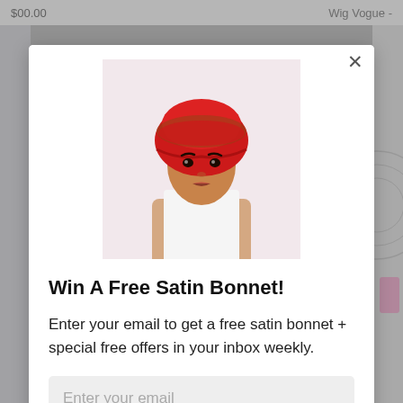$00.00   Wig Vogue -
[Figure (photo): Woman wearing a red satin bonnet with patterned fabric, wearing a white sleeveless top, against a light pink background]
Win A Free Satin Bonnet!
Enter your email to get a free satin bonnet + special free offers in your inbox weekly.
Enter your email